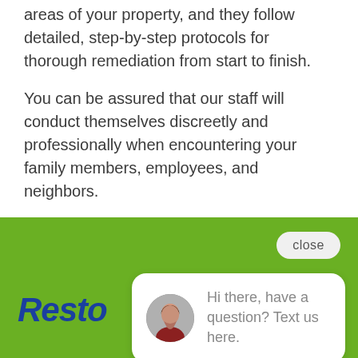areas of your property, and they follow detailed, step-by-step protocols for thorough remediation from start to finish.
You can be assured that our staff will conduct themselves discreetly and professionally when encountering your family members, employees, and neighbors.
[Figure (screenshot): Green website section with a chat popup bubble. The popup shows a female avatar photo and the text 'Hi there, have a question? Text us here.' with a close button in the top right. A partial blue chat icon is visible at bottom right. Below is a green call bar with 'CALL NOW' text and a phone icon.]